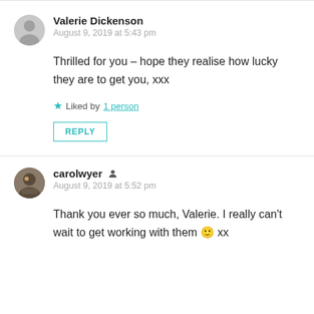Valerie Dickenson
August 9, 2019 at 5:43 pm
Thrilled for you – hope they realise how lucky they are to get you, xxx
Liked by 1 person
REPLY
carolwyer
August 9, 2019 at 5:52 pm
Thank you ever so much, Valerie. I really can't wait to get working with them 🙂 xx